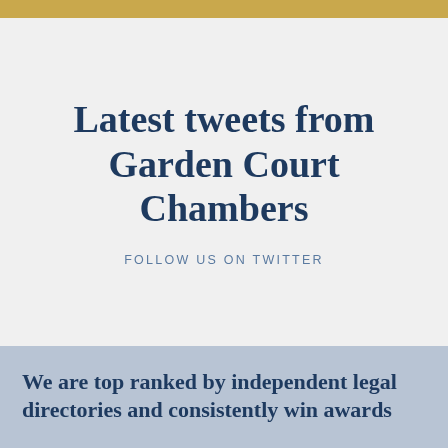Latest tweets from Garden Court Chambers
FOLLOW US ON TWITTER
We are top ranked by independent legal directories and consistently win awards